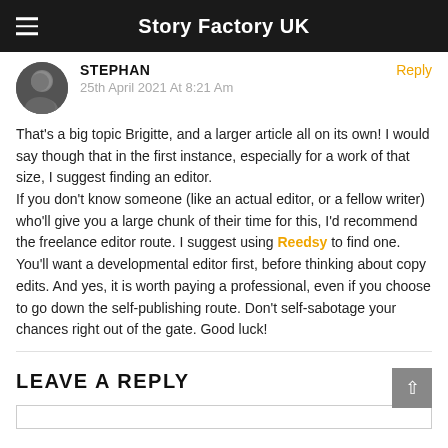Story Factory UK
STEPHAN
25th April 2021 At 8:21 Am
That's a big topic Brigitte, and a larger article all on its own! I would say though that in the first instance, especially for a work of that size, I suggest finding an editor. If you don't know someone (like an actual editor, or a fellow writer) who'll give you a large chunk of their time for this, I'd recommend the freelance editor route. I suggest using Reedsy to find one. You'll want a developmental editor first, before thinking about copy edits. And yes, it is worth paying a professional, even if you choose to go down the self-publishing route. Don't self-sabotage your chances right out of the gate. Good luck!
LEAVE A REPLY